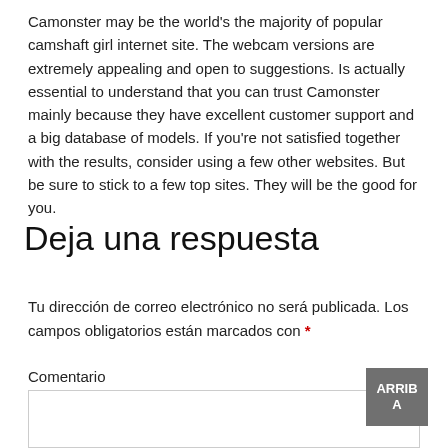Camonster may be the world's the majority of popular camshaft girl internet site. The webcam versions are extremely appealing and open to suggestions. Is actually essential to understand that you can trust Camonster mainly because they have excellent customer support and a big database of models. If you're not satisfied together with the results, consider using a few other websites. But be sure to stick to a few top sites. They will be the good for you.
Deja una respuesta
Tu dirección de correo electrónico no será publicada. Los campos obligatorios están marcados con *
Comentario